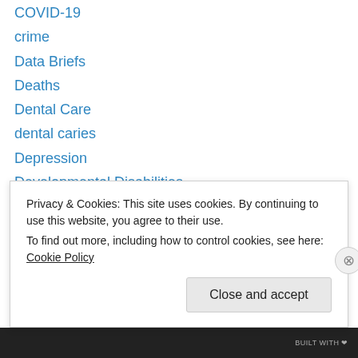COVID-19
crime
Data Briefs
Deaths
Dental Care
dental caries
Depression
Developmental Disabilities
diabetes
Diet & Nutrition
disability
Division of Health Care Statistics
divorce rate
drowning
Privacy & Cookies: This site uses cookies. By continuing to use this website, you agree to their use. To find out more, including how to control cookies, see here: Cookie Policy
Close and accept